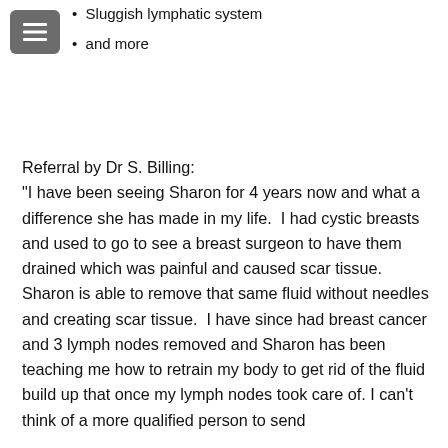Sluggish lymphatic system
and more
Referral by Dr S. Billing
"I have been seeing Sharon for 4 years now and what a difference she has made in my life.  I had cystic breasts and used to go to see a breast surgeon to have them drained which was painful and caused scar tissue.   Sharon is able to remove that same fluid without needles and creating scar tissue.  I have since had breast cancer and 3 lymph nodes removed and Sharon has been teaching me how to retrain my body to get rid of the fluid build up that once my lymph nodes took care of.  I can't think of a more qualified person to send